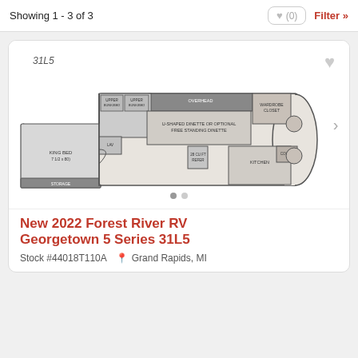Showing 1 - 3 of 3
[Figure (schematic): RV floorplan diagram for 2022 Forest River RV Georgetown 5 Series 31L5, showing interior layout with king bed slide-out on rear left, bathroom, dinette, kitchen, living area, and cab seating area]
New 2022 Forest River RV Georgetown 5 Series 31L5
Stock #44018T110A  Grand Rapids, MI